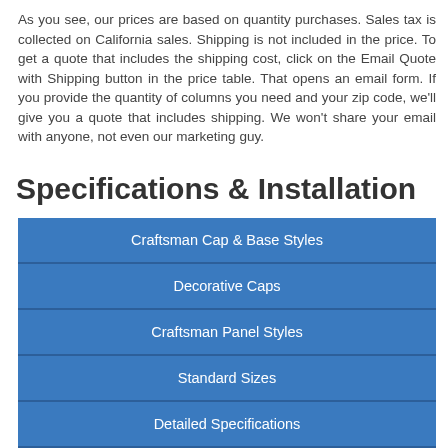As you see, our prices are based on quantity purchases. Sales tax is collected on California sales. Shipping is not included in the price. To get a quote that includes the shipping cost, click on the Email Quote with Shipping button in the price table. That opens an email form. If you provide the quantity of columns you need and your zip code, we'll give you a quote that includes shipping. We won't share your email with anyone, not even our marketing guy.
Specifications & Installation
Craftsman Cap & Base Styles
Decorative Caps
Craftsman Panel Styles
Standard Sizes
Detailed Specifications
Installation
Finishing Requirements
Pedestals & Newel Posts